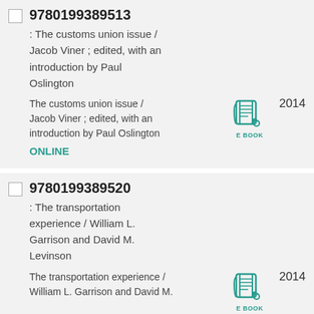9780199389513 : The customs union issue / Jacob Viner ; edited, with an introduction by Paul Oslington
The customs union issue / Jacob Viner ; edited, with an introduction by Paul Oslington ONLINE 2014
9780199389520 : The transportation experience / William L. Garrison and David M. Levinson
The transportation experience / William L. Garrison and David M. 2014